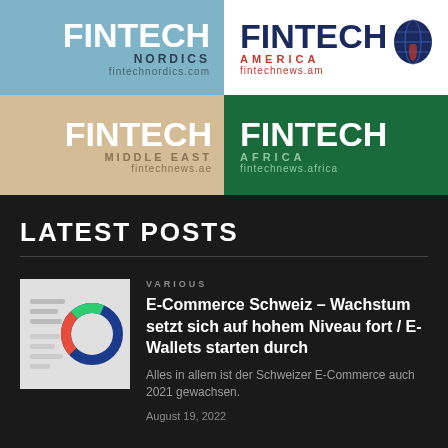[Figure (logo): Fintech Nordics logo - steel blue background, fintechnordics.com]
[Figure (logo): Fintech America logo - white background with globe, fintechnews.am]
[Figure (logo): Fintech Middle East logo - tan/beige background, fintechnews.ae]
[Figure (logo): Fintech Africa logo - dark green background, fintechnews.africa]
LATEST POSTS
VARIOUS
E-Commerce Schweiz – Wachstum setzt sich auf hohem Niveau fort / E-Wallets starten durch
Alles in allem ist der Schweizer E-Commerce auch 2021 gewachsen.
August 19, 2022